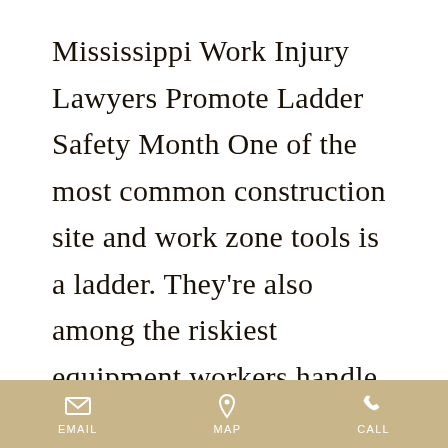Mississippi Work Injury Lawyers Promote Ladder Safety Month One of the most common construction site and work zone tools is a ladder. They're also among the riskiest equipment workers handle. In fact, falls and other ladder-related accidents make OSHA's top 10 "most frequently cited standards" list
EMAIL  MAP  CALL